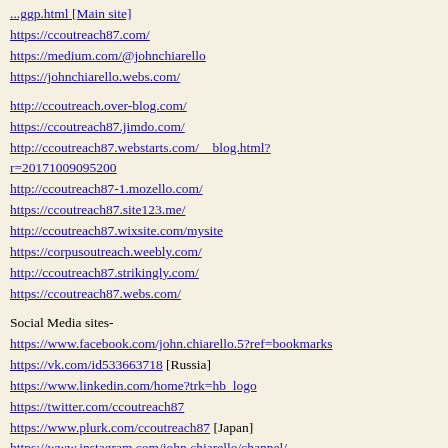https://ccoutreach87.com/
https://medium.com/@johnchiarello
https://johnchiarello.webs.com/
http://ccoutreach.over-blog.com/
https://ccoutreach87.jimdo.com/
http://ccoutreach87.webstarts.com/__blog.html?r=20171009095200
http://ccoutreach87-1.mozello.com/
https://ccoutreach87.site123.me/
http://ccoutreach87.wixsite.com/mysite
https://corpusoutreach.weebly.com/
http://ccoutreach87.strikingly.com/
https://ccoutreach87.webs.com/
Social Media sites-
https://www.facebook.com/john.chiarello.5?ref=bookmarks
https://vk.com/id533663718 [Russia]
https://www.linkedin.com/home?trk=hb_logo
https://twitter.com/ccoutreach87
https://www.plurk.com/ccoutreach87 [Japan]
https://www.instagram.com/john.chiarello/channel/